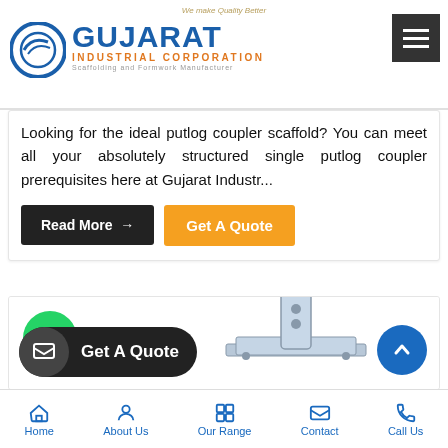Gujarat Industrial Corporation — We make Quality Better — Scaffolding and Formwork Manufacturer
Looking for the ideal putlog coupler scaffold? You can meet all your absolutely structured single putlog coupler prerequisites here at Gujarat Industr...
[Figure (screenshot): Read More button (dark/black) with arrow and Get A Quote button (orange)]
[Figure (photo): Scaffolding base plate / swivel coupler product photo with WhatsApp contact button, Get A Quote dark pill button, and up-arrow scroll button]
Home | About Us | Our Range | Contact | Call Us